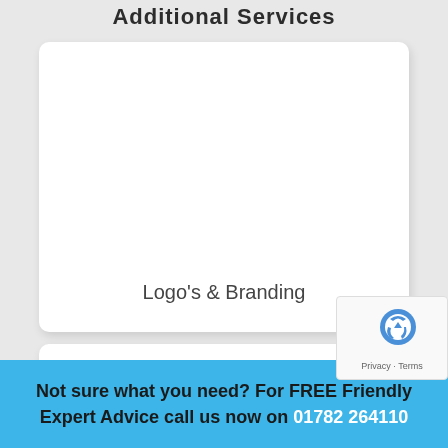Additional Services
[Figure (illustration): White card panel for Logo's & Branding service with text label at the bottom center]
Logo's & Branding
[Figure (logo): Google reCAPTCHA badge with Privacy and Terms links]
[Figure (other): Second white card panel, partially visible]
Not sure what you need? For FREE Friendly Expert Advice call us now on 01782 264110